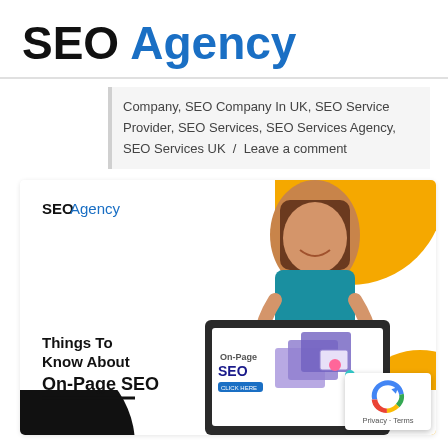SEO Agency
Company, SEO Company In UK, SEO Service Provider, SEO Services, SEO Services Agency, SEO Services UK / Leave a comment
[Figure (illustration): SEO Agency promotional banner image showing a woman leaning over a laptop with 'Things To Know About On-Page SEO' text, yellow and black decorative arcs, and an On-Page SEO graphic on the laptop screen]